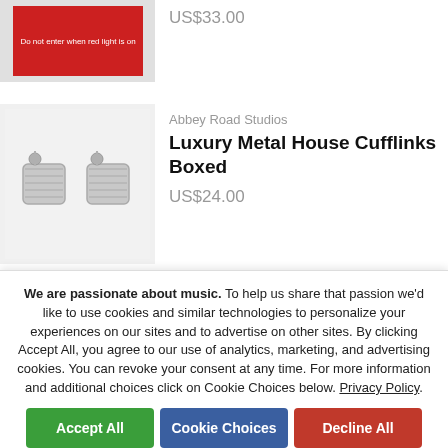[Figure (photo): Red sign product image with text 'Do not enter when red light is on']
US$33.00
[Figure (photo): Luxury Metal House Cufflinks product image showing two silver cufflinks on white/grey background]
Abbey Road Studios
Luxury Metal House Cufflinks Boxed
US$24.00
[Figure (photo): Partially visible third product image]
Abbey Road Studios
We are passionate about music. To help us share that passion we'd like to use cookies and similar technologies to personalize your experiences on our sites and to advertise on other sites. By clicking Accept All, you agree to our use of analytics, marketing, and advertising cookies. You can revoke your consent at any time. For more information and additional choices click on Cookie Choices below. Privacy Policy.